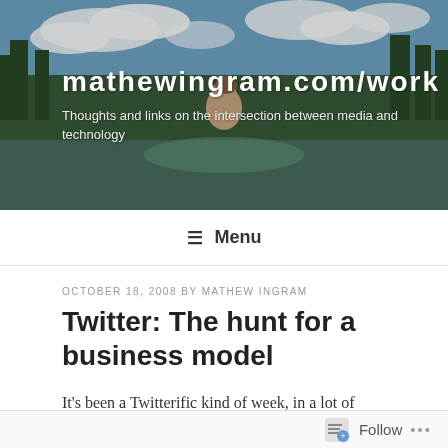[Figure (photo): Website header banner with a nature/forest landscape background showing trees, water, and a person with their back turned. Overlaid with white text showing site title and tagline.]
mathewingram.com/work
Thoughts and links on the intersection between media and technology
≡ Menu
OCTOBER 18, 2008 BY MATHEW INGRAM
Twitter: The hunt for a business model
It's been a Twitterific kind of week, in a lot of ways. Not just because Ev Williams seized the reins of power (such as they are) at the startup — which led to lots of theorizing about why Jack Dorsey, who originally came
Follow ...